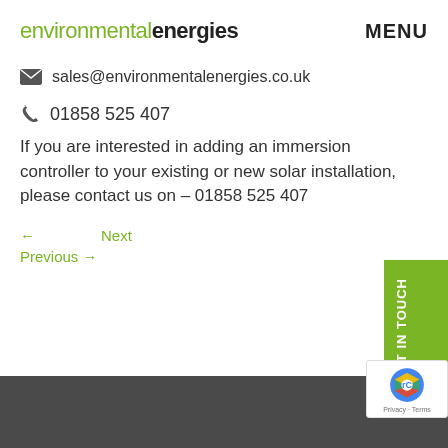environmentalenergies   MENU
sales@environmentalenergies.co.uk
01858 525 407
If you are interested in adding an immersion controller to your existing or new solar installation, please contact us on – 01858 525 407
GET IN TOUCH
← Next
Previous →